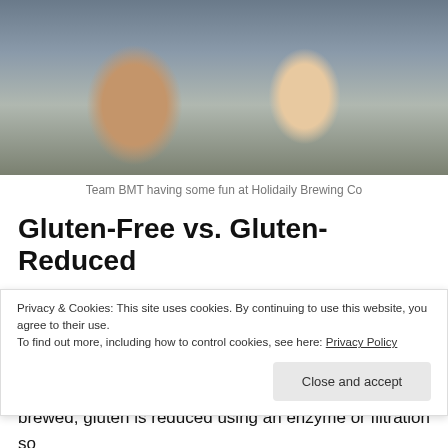[Figure (photo): Two people posing playfully at Holidaily Brewing Co, one with a beard and one holding a fake mustache prop to their face]
Team BMT having some fun at Holidaily Brewing Co
Gluten-Free vs. Gluten-Reduced
Further complicating things for the gluten-sensitive crowd is the fuzzy designation of “Gluten-Reduced” products. To help us make sense of it all, we got some help from
Privacy & Cookies: This site uses cookies. By continuing to use this website, you agree to their use.
To find out more, including how to control cookies, see here: Privacy Policy
brewed, gluten is reduced using an enzyme or filtration so